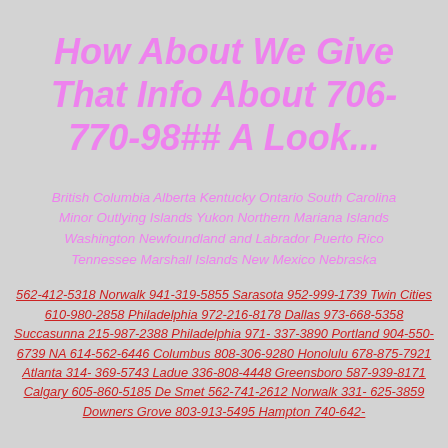How About We Give That Info About 706-770-98## A Look...
British Columbia Alberta Kentucky Ontario South Carolina Minor Outlying Islands Yukon Northern Mariana Islands Washington Newfoundland and Labrador Puerto Rico Tennessee Marshall Islands New Mexico Nebraska
562-412-5318 Norwalk 941-319-5855 Sarasota 952-999-1739 Twin Cities 610-980-2858 Philadelphia 972-216-8178 Dallas 973-668-5358 Succasunna 215-987-2388 Philadelphia 971-337-3890 Portland 904-550-6739 NA 614-562-6446 Columbus 808-306-9280 Honolulu 678-875-7921 Atlanta 314-369-5743 Ladue 336-808-4448 Greensboro 587-939-8171 Calgary 605-860-5185 De Smet 562-741-2612 Norwalk 331-625-3859 Downers Grove 803-913-5495 Hampton 740-642-